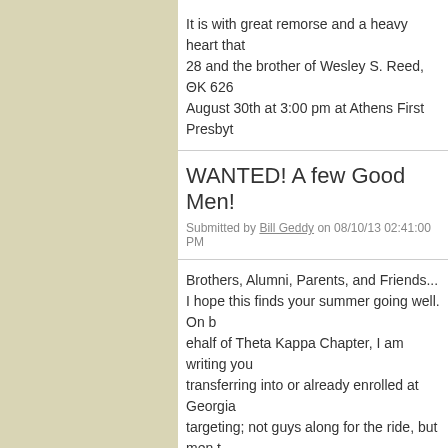It is with great remorse and a heavy heart that ... 28 and the brother of Wesley S. Reed, ΘK 626 ... August 30th at 3:00 pm at Athens First Presbyt...
WANTED! A few Good Men!
Submitted by Bill Geddy on 08/10/13 02:41:00 PM
Brothers, Alumni, Parents, and Friends...
I hope this finds your summer going well. On b ehalf of Theta Kappa Chapter, I am writing you transferring into or already enrolled at Georgia targeting; not guys along for the ride, but men t
Theta Kappa announces new Chapt
Submitted by Bill Geddy on 08/10/13 01:17:00 PM
Theta Kappa Brothers...
Pursuant to the instructions of the High Counci